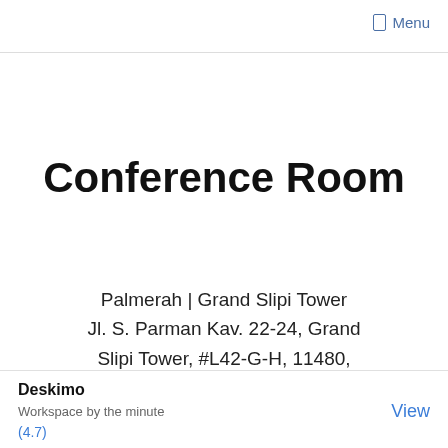Menu
Conference Room
Palmerah | Grand Slipi Tower
Jl. S. Parman Kav. 22-24, Grand Slipi Tower, #L42-G-H, 11480, Jakarta
Deskimo
Workspace by the minute
(4.7)
View